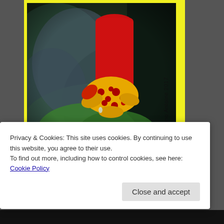[Figure (photo): Close-up photograph of a red tubular flower with yellow spotted interior petals against blurred green and dark foliage background. Watermark text '© Adriano Antoine 2017' along right side.]
MG: Belo Horizonte
Privacy & Cookies: This site uses cookies. By continuing to use this website, you agree to their use.
To find out more, including how to control cookies, see here: Cookie Policy
Close and accept